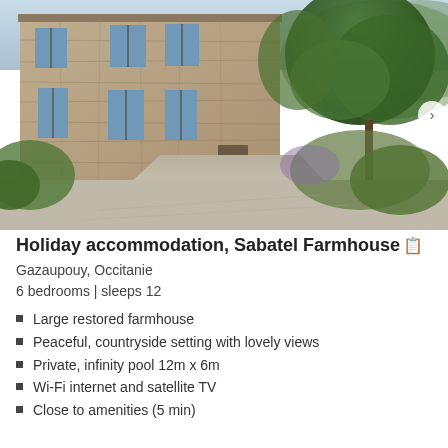[Figure (photo): Exterior photograph of a large stone farmhouse with blue shutters, gravel driveway, and lush green trees to the right. A navigation arrow is visible on the right side of the image.]
Holiday accommodation, Sabatel Farmhouse
Gazaupouy, Occitanie
6 bedrooms | sleeps 12
Large restored farmhouse
Peaceful, countryside setting with lovely views
Private, infinity pool 12m x 6m
Wi-Fi internet and satellite TV
Close to amenities (5 min)